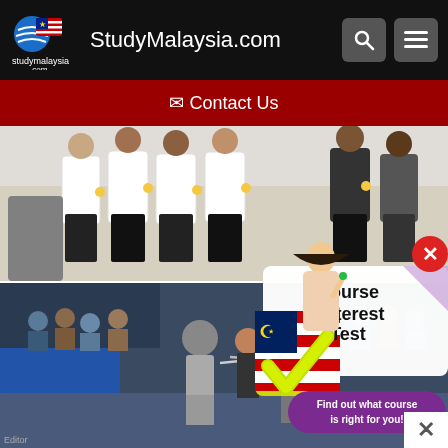StudyMalaysia.com
✉ Contact Us
[Figure (photo): Group photo of students/people in white shirts and dark skirts/pants giving thumbs up]
[Figure (infographic): Course Interest Test banner with Malaysian flag checkmark badge, girl figure, and text 'Find out what course is right for you!']
[Figure (photo): Fencing match photo taken indoors]
[Figure (infographic): King Oil Tools advertisement: Large Inventory of Drill Rig Equipment]